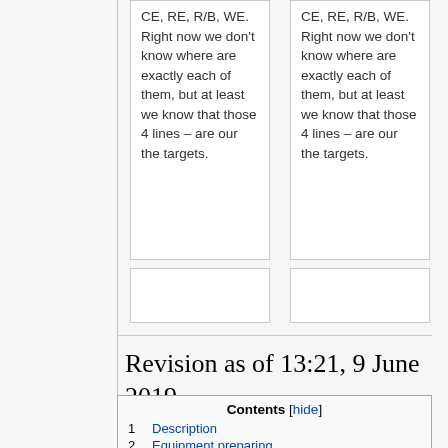CE, RE, R/B, WE. Right now we don't know where are exactly each of them, but at least we know that those 4 lines – are our the targets.
CE, RE, R/B, WE. Right now we don't know where are exactly each of them, but at least we know that those 4 lines – are our the targets.
Revision as of 13:21, 9 June 2019
| 1 | Description |
| 2 | Equipment preparing |
| 2.1 | Healthy Monolith with the same pinout, as our damaged |